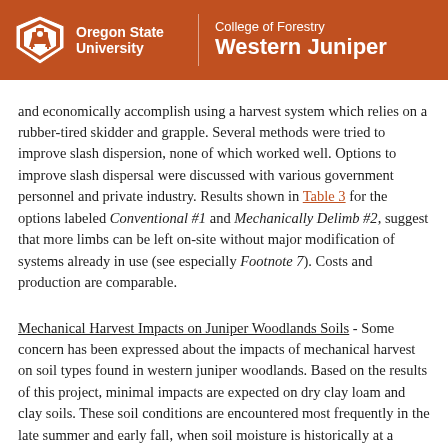Oregon State University | College of Forestry | Western Juniper
and economically accomplish using a harvest system which relies on a rubber-tired skidder and grapple. Several methods were tried to improve slash dispersion, none of which worked well. Options to improve slash dispersal were discussed with various government personnel and private industry. Results shown in Table 3 for the options labeled Conventional #1 and Mechanically Delimb #2, suggest that more limbs can be left on-site without major modification of systems already in use (see especially Footnote 7). Costs and production are comparable.
Mechanical Harvest Impacts on Juniper Woodlands Soils
Some concern has been expressed about the impacts of mechanical harvest on soil types found in western juniper woodlands. Based on the results of this project, minimal impacts are expected on dry clay loam and clay soils. These soil conditions are encountered most frequently in the late summer and early fall, when soil moisture is historically at a minimum.